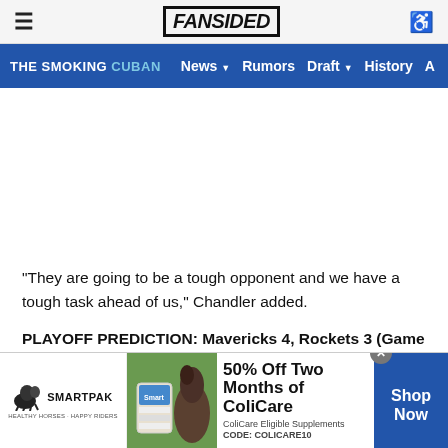FanSided
THE SMOKING CUBAN  News  Rumors  Draft  History  A
"They are going to be a tough opponent and we have a tough task ahead of us," Chandler added.
PLAYOFF PREDICTION: Mavericks 4, Rockets 3 (Game 1- Saturday 8:30)
[Figure (photo): SmartPak advertisement banner showing a horse and rider with text '50% Off Two Months of ColiCare, ColiCare Eligible Supplements, CODE: COLICARE10' and a 'Shop Now' button]